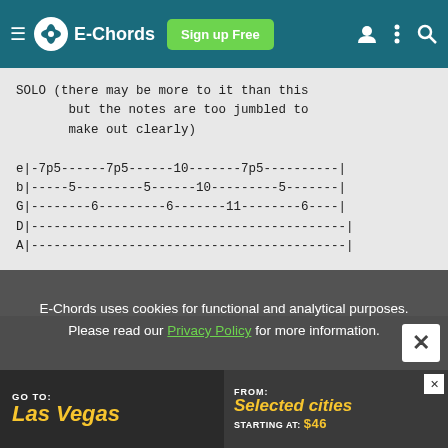E-Chords | Sign up Free
SOLO (there may be more to it than this
       but the notes are too jumbled to
       make out clearly)

e|-7p5------7p5------10-------7p5----------|
b|-----5---------5------10---------5--------|
G|--------6---------6-------11--------6------|
D|-------------------------------------------|
A|-------------------------------------------|
E-Chords uses cookies for functional and analytical purposes. Please read our Privacy Policy for more information.
[Figure (screenshot): Advertisement banner: GO TO: Las Vegas / FROM: Selected cities STARTING AT: $46]